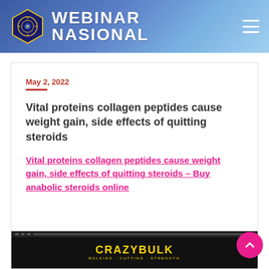[Figure (logo): Webinar Nasional header banner with university logo and hamburger menu icon]
May 2, 2022
Vital proteins collagen peptides cause weight gain, side effects of quitting steroids
Vital proteins collagen peptides cause weight gain, side effects of quitting steroids – Buy anabolic steroids online
[Figure (screenshot): CrazyBulk website screenshot showing the brand name and tagline BULKING · CUTTING · STRENGTH]